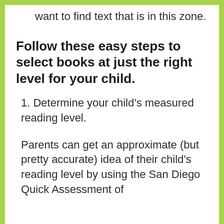want to find text that is in this zone.
Follow these easy steps to select books at just the right level for your child.
1. Determine your child's measured reading level.
Parents can get an approximate (but pretty accurate) idea of their child's reading level by using the San Diego Quick Assessment of